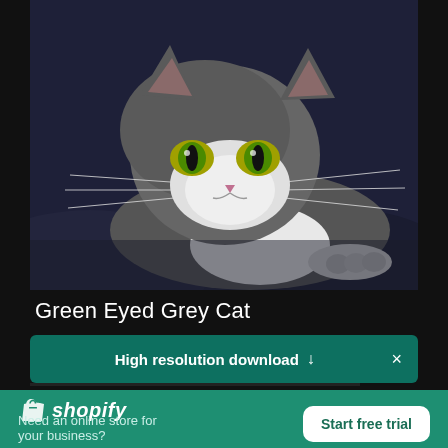[Figure (photo): Close-up photo of a green-eyed grey and white tuxedo cat lying on a dark blue surface, looking directly at the camera with an intense expression. The cat has white chest/chin fur and grey body fur, with long whiskers.]
Green Eyed Grey Cat
High resolution download ↓
[Figure (logo): Shopify logo with shopping bag icon and italic 'shopify' text in white]
Need an online store for your business?
Start free trial